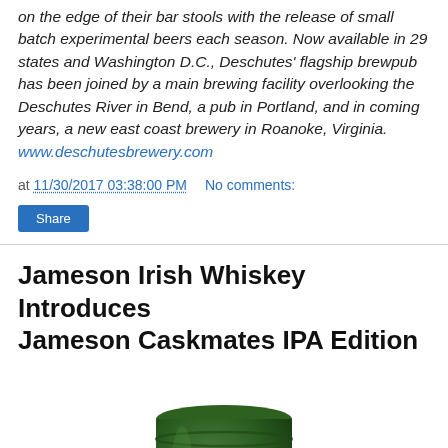on the edge of their bar stools with the release of small batch experimental beers each season. Now available in 29 states and Washington D.C., Deschutes' flagship brewpub has been joined by a main brewing facility overlooking the Deschutes River in Bend, a pub in Portland, and in coming years, a new east coast brewery in Roanoke, Virginia. www.deschutesbrewery.com
at 11/30/2017 03:38:00 PM   No comments:
Share
Jameson Irish Whiskey Introduces Jameson Caskmates IPA Edition
[Figure (photo): Green Jameson Irish Whiskey bottle top portion, cropped]